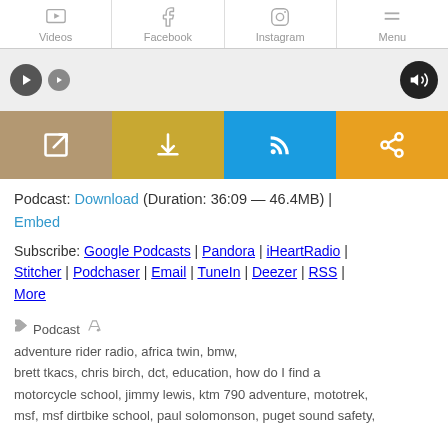Videos | Facebook | Instagram | Menu
[Figure (screenshot): Podcast audio player widget with play button, progress area and volume button on grey background, with four action buttons below: open externally (tan), download (yellow-green), subscribe/RSS (blue), share (orange)]
Podcast: Download (Duration: 36:09 — 46.4MB) | Embed
Subscribe: Google Podcasts | Pandora | iHeartRadio | Stitcher | Podchaser | Email | TuneIn | Deezer | RSS | More
Podcast   adventure rider radio, africa twin, bmw, brett tkacs, chris birch, dct, education, how do I find a motorcycle school, jimmy lewis, ktm 790 adventure, mototrek, msf, msf dirtbike school, paul solomonson, puget sound safety,